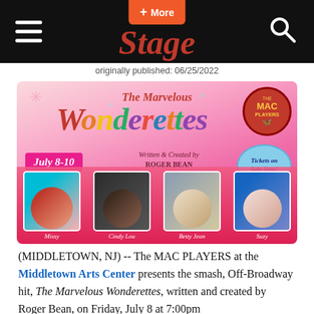NJ Stage
originally published: 06/25/2022
[Figure (photo): Promotional poster for The Marvelous Wonderettes by Roger Bean, MAC Players, July 8-10, featuring four cast members: Missy, Cindy Lou, Betty Jean, Suzy]
(MIDDLETOWN, NJ) -- The MAC PLAYERS at the Middletown Arts Center presents the smash, Off-Broadway hit, The Marvelous Wonderettes, written and created by Roger Bean, on Friday, July 8 at 7:00pm